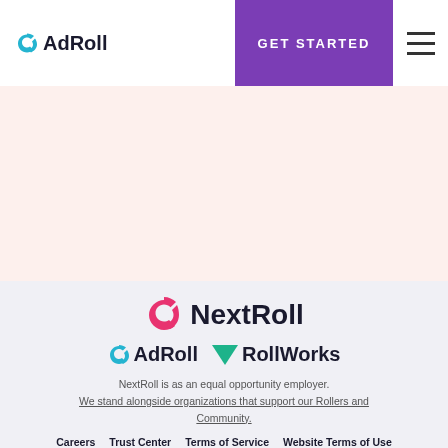AdRoll | GET STARTED
[Figure (logo): AdRoll logo with teal arrow icon and 'AdRoll' text]
[Figure (illustration): Pink/peach banner background area]
[Figure (logo): NextRoll logo with red S-arrow icon and bold 'NextRoll' text]
[Figure (logo): AdRoll and RollWorks logos side by side]
NextRoll is as an equal opportunity employer. We stand alongside organizations that support our Rollers and Community.
Careers   Trust Center   Terms of Service   Website Terms of Use
Privacy Notice   Infringement Policy   Ad Opt Out   CCPA Notice at Collection
AdChoices